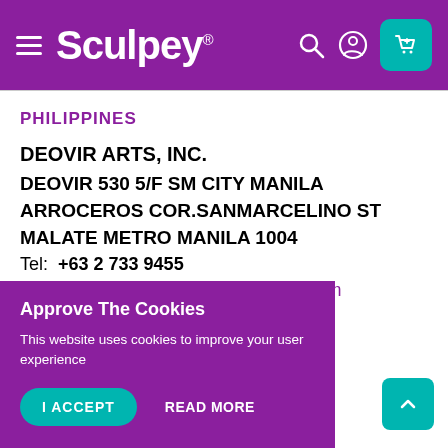Sculpey
PHILIPPINES
DEOVIR ARTS, INC.
DEOVIR 530 5/F SM CITY MANILA
ARROCEROS COR.SANMARCELINO ST
MALATE METRO MANILA 1004
Tel: +63 2 733 9455
Email: virginia.ocampo@deovirarts.com
Web: http://www.deovirarts.com
Approve The Cookies
This website uses cookies to improve your user experience
I ACCEPT   READ MORE